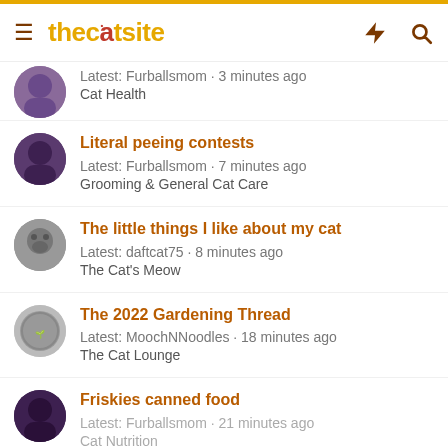thecatsite
Latest: Furballsmom · 3 minutes ago
Cat Health
Literal peeing contests
Latest: Furballsmom · 7 minutes ago
Grooming & General Cat Care
The little things I like about my cat
Latest: daftcat75 · 8 minutes ago
The Cat's Meow
The 2022 Gardening Thread
Latest: MoochNNoodles · 18 minutes ago
The Cat Lounge
Friskies canned food
Latest: Furballsmom · 21 minutes ago
Cat Nutrition